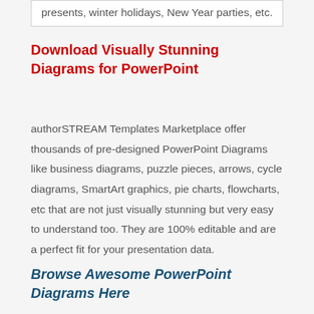presents, winter holidays, New Year parties, etc.
Download Visually Stunning Diagrams for PowerPoint
authorSTREAM Templates Marketplace offer thousands of pre-designed PowerPoint Diagrams like business diagrams, puzzle pieces, arrows, cycle diagrams, SmartArt graphics, pie charts, flowcharts, etc that are not just visually stunning but very easy to understand too. They are 100% editable and are a perfect fit for your presentation data.
Browse Awesome PowerPoint Diagrams Here